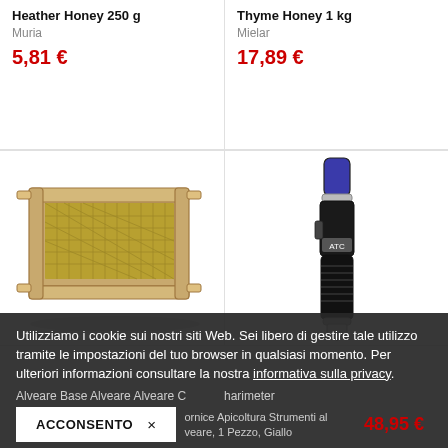Heather Honey 250 g
Muria
5,81 €
Thyme Honey 1 kg
Mielar
17,89 €
[Figure (photo): Wooden beehive frame with honeycomb base]
[Figure (photo): Black handheld ATC refractometer for honey]
Utilizziamo i cookie sui nostri siti Web. Sei libero di gestire tale utilizzo tramite le impostazioni del tuo browser in qualsiasi momento. Per ulteriori informazioni consultare la nostra informativa sulla privacy.
Alveare Base Alveare Alveare C
harimeter
ornice Apicoltura Strumenti al veare, 1 Pezzo, Giallo
48,95 €
ACCONSENTO ×